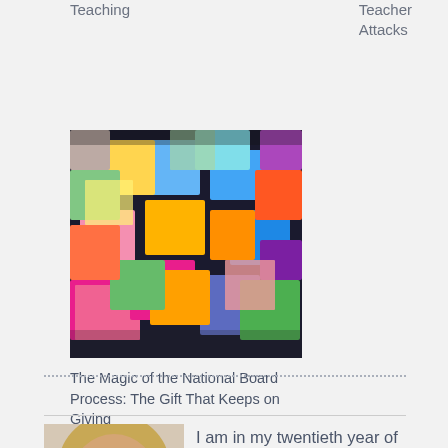Teaching
Teacher Attacks
[Figure (photo): Colorful sticky notes arranged on a surface, viewed from above]
The Magic of the National Board Process: The Gift That Keeps on Giving
I am in my twentieth year of teaching and enjoy